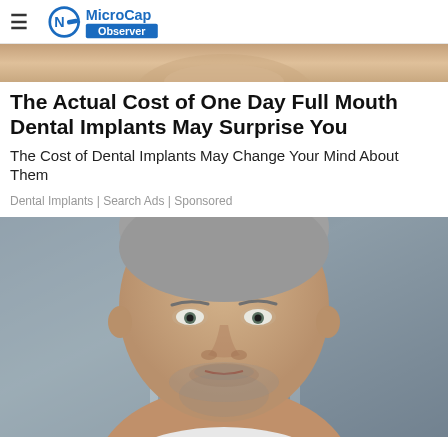MicroCap Observer
[Figure (photo): Partial top image showing a person (cropped), warm skin tones visible at top of page]
The Actual Cost of One Day Full Mouth Dental Implants May Surprise You
The Cost of Dental Implants May Change Your Mind About Them
Dental Implants | Search Ads | Sponsored
[Figure (photo): Close-up portrait photo of a middle-aged man with short gray hair and stubble beard, looking directly at camera with a serious expression, blurred background]